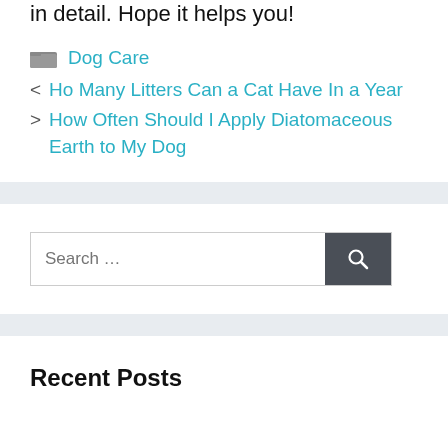in detail. Hope it helps you!
Dog Care
< Ho Many Litters Can a Cat Have In a Year
> How Often Should I Apply Diatomaceous Earth to My Dog
Search …
Recent Posts